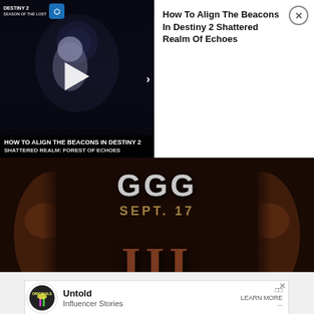[Figure (screenshot): Destiny 2 Season of the Lost video thumbnail with play button overlay showing dark sci-fi scene]
HOW TO ALIGN THE BEACONS IN DESTINY 2 SHATTERED REALM: FOREST OF ECHOES
How To Align The Beacons In Destiny 2 Shattered Realm Of Echoes
[Figure (screenshot): Advertisement for a product launching SEPT. 17 showing stylized GGG logo and roman numeral III with two faces on sides, LIVE ON text at bottom]
SCROLL TO CONTINUE WITH CONTENT
[Figure (screenshot): Bottom banner advertisement for Originals Untold Influencer Stories with Learn More button]